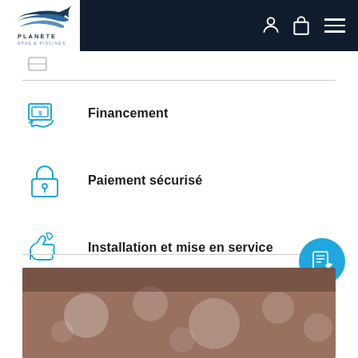[Figure (screenshot): Planète Spas & Piscines website header with logo on white background, dark navy navigation bar with user icon, cart icon, and hamburger menu]
Financement
Paiement sécurisé
Installation et mise en service
[Figure (photo): Blurred close-up photo of a spa or pool water surface with bokeh light effects]